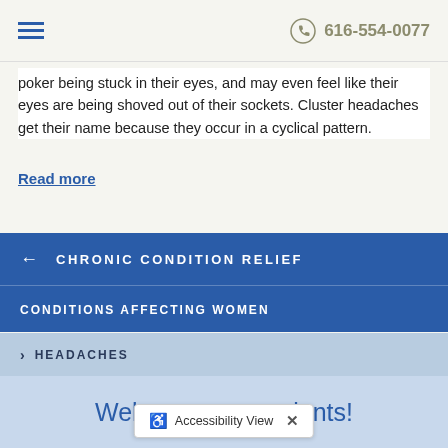616-554-0077
poker being stuck in their eyes, and may even feel like their eyes are being shoved out of their sockets. Cluster headaches get their name because they occur in a cyclical pattern.
Read more
CHRONIC CONDITION RELIEF
CONDITIONS AFFECTING WOMEN
HEADACHES
Welcome new patients!